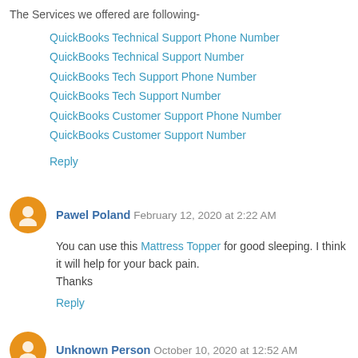The Services we offered are following-
QuickBooks Technical Support Phone Number
QuickBooks Technical Support Number
QuickBooks Tech Support Phone Number
QuickBooks Tech Support Number
QuickBooks Customer Support Phone Number
QuickBooks Customer Support Number
Reply
Pawel Poland  February 12, 2020 at 2:22 AM
You can use this Mattress Topper for good sleeping. I think it will help for your back pain.
Thanks
Reply
Unknown Person  October 10, 2020 at 12:52 AM
That is the following best thing. In the event that you lear